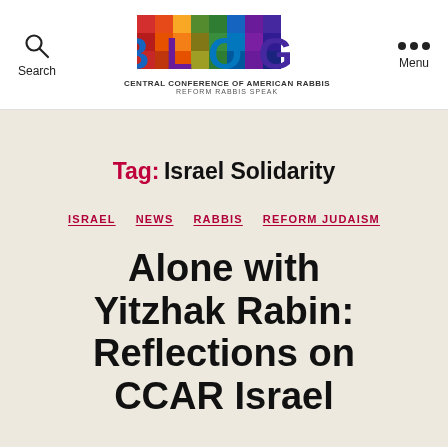RAV BLOG — CENTRAL CONFERENCE OF AMERICAN RABBIS — REFORM RABBIS SPEAK
Tag: Israel Solidarity
ISRAEL  NEWS  RABBIS  REFORM JUDAISM
Alone with Yitzhak Rabin: Reflections on CCAR Israel